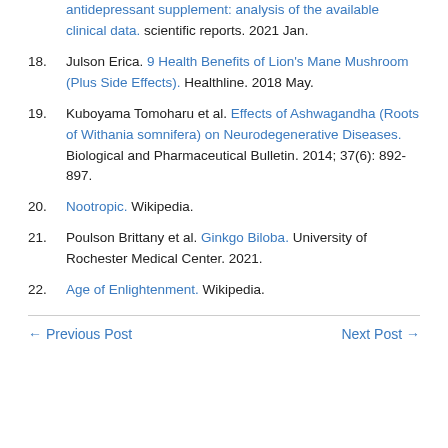antidepressant supplement: analysis of the available clinical data. scientific reports. 2021 Jan.
18. Julson Erica. 9 Health Benefits of Lion's Mane Mushroom (Plus Side Effects). Healthline. 2018 May.
19. Kuboyama Tomoharu et al. Effects of Ashwagandha (Roots of Withania somnifera) on Neurodegenerative Diseases. Biological and Pharmaceutical Bulletin. 2014; 37(6): 892-897.
20. Nootropic. Wikipedia.
21. Poulson Brittany et al. Ginkgo Biloba. University of Rochester Medical Center. 2021.
22. Age of Enlightenment. Wikipedia.
← Previous Post   Next Post →